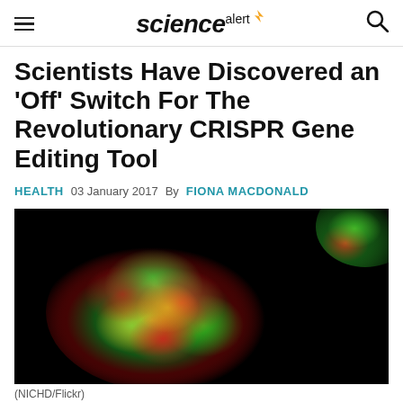sciencealert
Scientists Have Discovered an 'Off' Switch For The Revolutionary CRISPR Gene Editing Tool
HEALTH  03 January 2017  By FIONA MACDONALD
[Figure (photo): Fluorescence microscopy image showing a cell with red and green fluorescent markers on a black background, appearing as a glowing spherical structure]
(NICHD/Flickr)